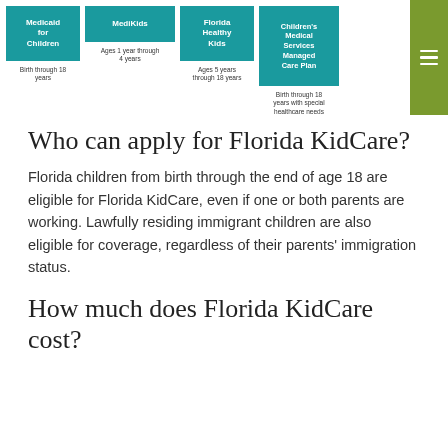[Figure (infographic): Four teal program cards for Florida KidCare programs: Medicaid for Children (Birth through 18 years), MediKids (Ages 1 year through 4 years), Florida Healthy Kids (Ages 5 years through 18 years), Children's Medical Services Managed Care Plan (Birth through 18 years with special healthcare needs). A green hamburger menu button on the right.]
Who can apply for Florida KidCare?
Florida children from birth through the end of age 18 are eligible for Florida KidCare, even if one or both parents are working. Lawfully residing immigrant children are also eligible for coverage, regardless of their parents' immigration status.
How much does Florida KidCare cost?